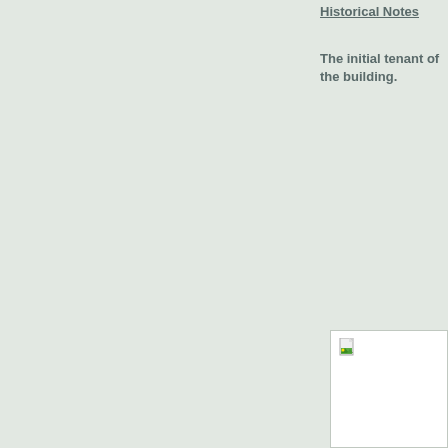Historical Notes
The initial tenant of the building.
[Figure (photo): Broken/missing image placeholder with page icon and green landscape thumbnail icon in upper-left corner of a white box]